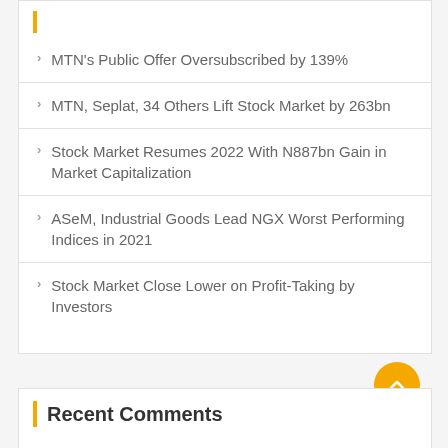MTN's Public Offer Oversubscribed by 139%
MTN, Seplat, 34 Others Lift Stock Market by 263bn
Stock Market Resumes 2022 With N887bn Gain in Market Capitalization
ASeM, Industrial Goods Lead NGX Worst Performing Indices in 2021
Stock Market Close Lower on Profit-Taking by Investors
Recent Comments